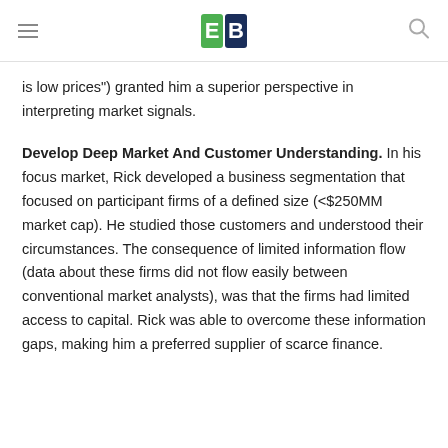EB (logo)
is low prices") granted him a superior perspective in interpreting market signals.
Develop Deep Market And Customer Understanding.
In his focus market, Rick developed a business segmentation that focused on participant firms of a defined size (<$250MM market cap). He studied those customers and understood their circumstances. The consequence of limited information flow (data about these firms did not flow easily between conventional market analysts), was that the firms had limited access to capital. Rick was able to overcome these information gaps, making him a preferred supplier of scarce finance.